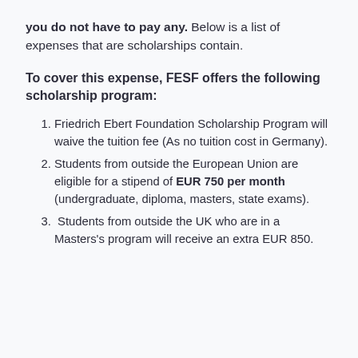you do not have to pay any. Below is a list of expenses that are scholarships contain.
To cover this expense, FESF offers the following scholarship program:
Friedrich Ebert Foundation Scholarship Program will waive the tuition fee (As no tuition cost in Germany).
Students from outside the European Union are eligible for a stipend of EUR 750 per month (undergraduate, diploma, masters, state exams).
Students from outside the UK who are in a Masters's program will receive an extra EUR 850.